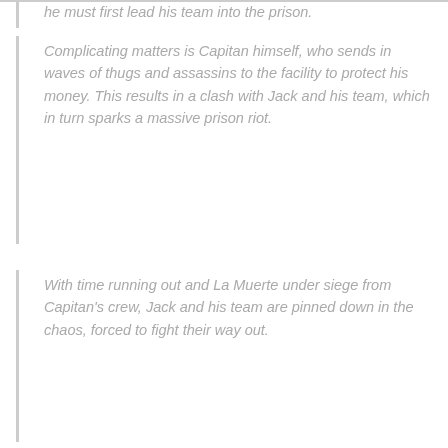he must first lead his team into the prison.
Complicating matters is Capitan himself, who sends in waves of thugs and assassins to the facility to protect his money. This results in a clash with Jack and his team, which in turn sparks a massive prison riot.
With time running out and La Muerte under siege from Capitan's crew, Jack and his team are pinned down in the chaos, forced to fight their way out.
Without further ado, watch the trailer below and be ready to ring in the new year with some more Dolph action to boot!